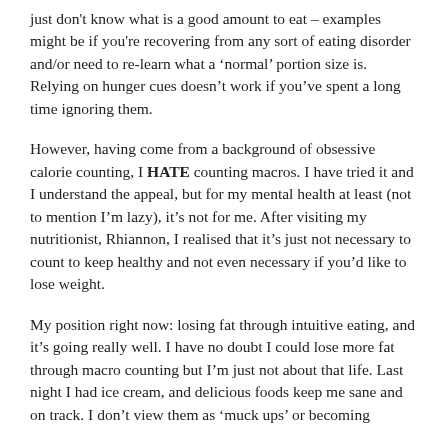just don't know what is a good amount to eat – examples might be if you're recovering from any sort of eating disorder and/or need to re-learn what a 'normal' portion size is. Relying on hunger cues doesn't work if you've spent a long time ignoring them.
However, having come from a background of obsessive calorie counting, I HATE counting macros. I have tried it and I understand the appeal, but for my mental health at least (not to mention I'm lazy), it's not for me. After visiting my nutritionist, Rhiannon, I realised that it's just not necessary to count to keep healthy and not even necessary if you'd like to lose weight.
My position right now: losing fat through intuitive eating, and it's going really well. I have no doubt I could lose more fat through macro counting but I'm just not about that life. Last night I had ice cream, and delicious foods keep me sane and on track. I don't view them as 'muck ups' or becoming